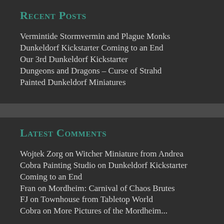Recent Posts
Vermintide Stormvermin and Plague Monks
Dunkeldorf Kickstarter Coming to an End
Our 3rd Dunkeldorf Kickstarter
Dungeons and Dragons – Curse of Strahd
Painted Dunkeldorf Miniatures
Latest Comments
Wojtek Zorg on Witcher Miniature from Andrea
Cobra Painting Studio on Dunkeldorf Kickstarter Coming to an End
Fran on Mordheim: Carnival of Chaos Brutes
FJ on Townhouse from Tabletop World
Cobra on More Pictures of the Mordheim...